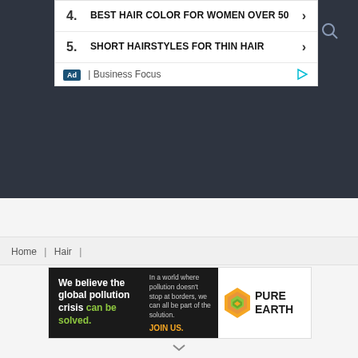4. BEST HAIR COLOR FOR WOMEN OVER 50
5. SHORT HAIRSTYLES FOR THIN HAIR
Ad | Business Focus
Home | Hair |
[Figure (infographic): Pure Earth advertisement banner: black background left section with text 'We believe the global pollution crisis can be solved.' Middle section with subtext 'In a world where pollution doesn't stop at borders, we can all be part of the solution.' and 'JOIN US.' Right section with Pure Earth logo (orange diamond shape with layered design) and 'PURE EARTH' text.]